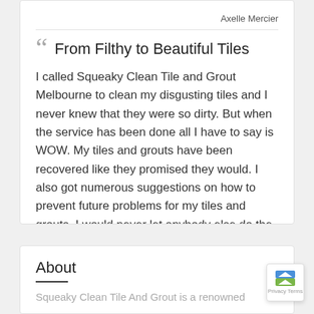Axelle Mercier
From Filthy to Beautiful Tiles
I called Squeaky Clean Tile and Grout Melbourne to clean my disgusting tiles and I never knew that they were so dirty. But when the service has been done all I have to say is WOW. My tiles and grouts have been recovered like they promised they would. I also got numerous suggestions on how to prevent future problems for my tiles and grouts. I would never let anybody else do the tile and
About
Squeaky Clean Tile And Grout is a renowned